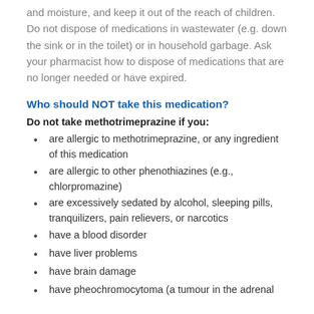and moisture, and keep it out of the reach of children. Do not dispose of medications in wastewater (e.g. down the sink or in the toilet) or in household garbage. Ask your pharmacist how to dispose of medications that are no longer needed or have expired.
Who should NOT take this medication?
Do not take methotrimeprazine if you:
are allergic to methotrimeprazine, or any ingredient of this medication
are allergic to other phenothiazines (e.g., chlorpromazine)
are excessively sedated by alcohol, sleeping pills, tranquilizers, pain relievers, or narcotics
have a blood disorder
have liver problems
have brain damage
have pheochromocytoma (a tumour in the adrenal